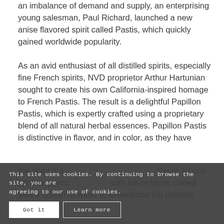an imbalance of demand and supply, an enterprising young salesman, Paul Richard, launched a new anise flavored spirit called Pastis, which quickly gained worldwide popularity.
As an avid enthusiast of all distilled spirits, especially fine French spirits, NVD proprietor Arthur Hartunian sought to create his own California-inspired homage to French Pastis. The result is a delightful Papillon Pastis, which is expertly crafted using a proprietary blend of all natural herbal essences. Papillon Pastis is distinctive in flavor, and in color, as they have
the point tha... Pastis louche (clouding) occ... with ice or serve chilled with a splash of water to experience the ultimate
This site uses cookies. By continuing to browse the site, you are agreeing to our use of cookies.